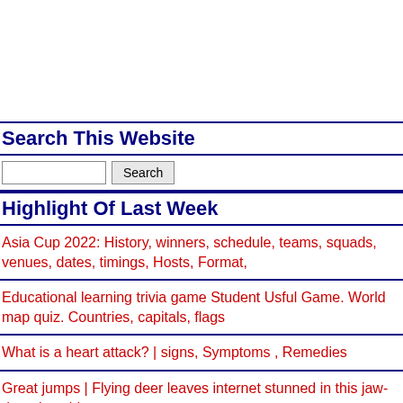Search This Website
[search input] Search
Highlight Of Last Week
Asia Cup 2022: History, winners, schedule, teams, squads, venues, dates, timings, Hosts, Format,
Educational learning trivia game Student Usful Game. World map quiz. Countries, capitals, flags
What is a heart attack? | signs, Symptoms , Remedies
Great jumps | Flying deer leaves internet stunned in this jaw-dropping video
Watch amazing video/The fierce form of nature captured in the